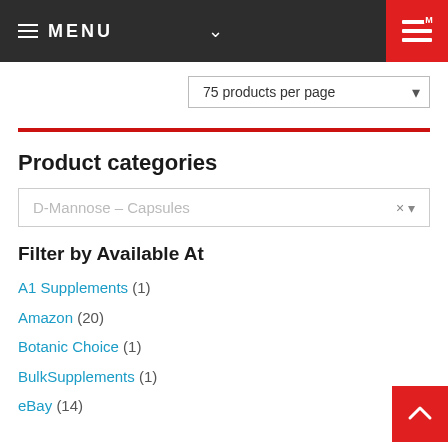MENU
75 products per page
Product categories
D-Mannose – Capsules
Filter by Available At
A1 Supplements (1)
Amazon (20)
Botanic Choice (1)
BulkSupplements (1)
eBay (14)